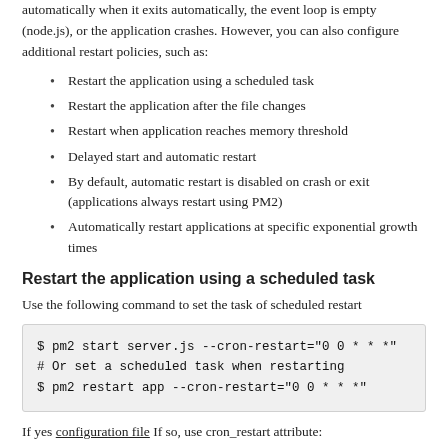automatically when it exits automatically, the event loop is empty (node.js), or the application crashes. However, you can also configure additional restart policies, such as:
Restart the application using a scheduled task
Restart the application after the file changes
Restart when application reaches memory threshold
Delayed start and automatic restart
By default, automatic restart is disabled on crash or exit (applications always restart using PM2)
Automatically restart applications at specific exponential growth times
Restart the application using a scheduled task
Use the following command to set the task of scheduled restart
$ pm2 start server.js --cron-restart="0 0 * * *"
# Or set a scheduled task when restarting
$ pm2 restart app --cron-restart="0 0 * * *"
If yes configuration file If so, use cron_restart attribute: